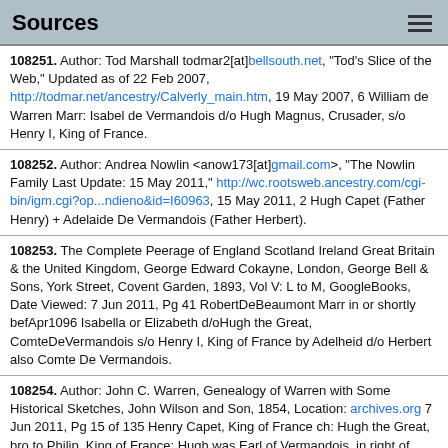Sources
108251. Author: Tod Marshall todmar2[at]bellsouth.net, "Tod's Slice of the Web," Updated as of 22 Feb 2007, http://todmar.net/ancestry/Calverly_main.htm, 19 May 2007, 6 William de Warren Marr: Isabel de Vermandois d/o Hugh Magnus, Crusader, s/o Henry I, King of France.
108252. Author: Andrea Nowlin <anow173[at]gmail.com>, "The Nowlin Family Last Update: 15 May 2011," http://wc.rootsweb.ancestry.com/cgi-bin/igm.cgi?op...ndieno&id=I60963, 15 May 2011, 2 Hugh Capet (Father Henry) + Adelaide De Vermandois (Father Herbert).
108253. The Complete Peerage of England Scotland Ireland Great Britain & the United Kingdom, George Edward Cokayne, London, George Bell & Sons, York Street, Covent Garden, 1893, Vol V: L to M, GoogleBooks, Date Viewed: 7 Jun 2011, Pg 41 RobertDeBeaumont Marr in or shortly befApr1096 Isabella or Elizabeth d/oHugh the Great, ComteDeVermandois s/o Henry I, King of France by Adelheid d/o Herbert also Comte De Vermandois.
108254. Author: John C. Warren, Genealogy of Warren with Some Historical Sketches, John Wilson and Son, 1854, Location: archives.org 7 Jun 2011, Pg 15 of 135 Henry Capet, King of France ch: Hugh the Great, bro to Philip, King of France; Hugh was Earl of Vermandois, in right of Adela his wife, d/o Herbert or Hubert, 4th Earl of Vermandois.
108255. Author: Frederick Lewis Weis, Ancestral Roots of Sixty Colonists Who Came to New England between 1623 and 1650, Genealogical Publishing Co, Inc. Baltimore, 1990, Sixth Edition, Location: Borrowed from Juanita Wagner, Bowie, MD (Member of Odenton Genial Genealogists), Date Viewed: 27 Sep 2011, Pg 56 Line 50-23, Adelaide de Vermandois